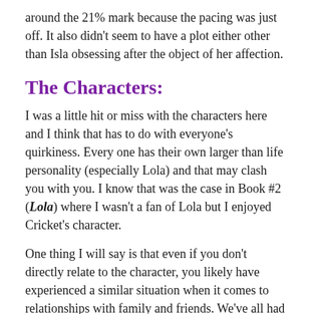around the 21% mark because the pacing was just off. It also didn't seem to have a plot either other than Isla obsessing after the object of her affection.
The Characters:
I was a little hit or miss with the characters here and I think that has to do with everyone's quirkiness. Every one has their own larger than life personality (especially Lola) and that may clash you with you. I know that was the case in Book #2 (Lola) where I wasn't a fan of Lola but I enjoyed Cricket's character.
One thing I will say is that even if you don't directly relate to the character, you likely have experienced a similar situation when it comes to relationships with family and friends. We've all had those strained times between others and I think that is especially true when you are a teenager and are trying to find yourself.